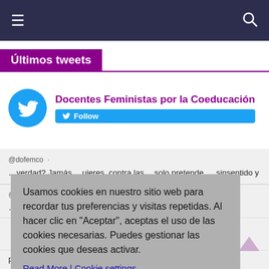Navigation bar with hamburger menu and search icon
Últimos tweets
Docentes Feministas por la Coeducación — Follow
@dofemco · ...verdad? Jamás ...ujeres, contra las ...solo pretende ...u sinsentido y
Usamos cookies en nuestro sitio web para recordar tus preferencias y visitas repetidas. Al hacer clic en "Aceptar", aceptas el uso de las cookies necesarias. Puedes gestionar las cookies que deseas activar.
Read More | Cookie settings
REJECT | ACCEPT
@dofemco · ...es en situaciones precarias. Nadie de quienes la defienden recomendaría a